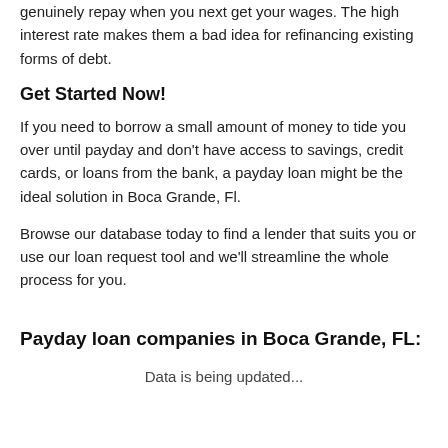genuinely repay when you next get your wages. The high interest rate makes them a bad idea for refinancing existing forms of debt.
Get Started Now!
If you need to borrow a small amount of money to tide you over until payday and don't have access to savings, credit cards, or loans from the bank, a payday loan might be the ideal solution in Boca Grande, Fl.
Browse our database today to find a lender that suits you or use our loan request tool and we'll streamline the whole process for you.
Payday loan companies in Boca Grande, FL:
Data is being updated...